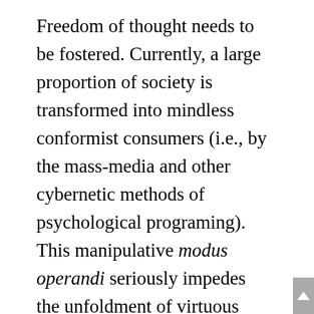Freedom of thought needs to be fostered. Currently, a large proportion of society is transformed into mindless conformist consumers (i.e., by the mass-media and other cybernetic methods of psychological programing). This manipulative modus operandi seriously impedes the unfoldment of virtuous human potential (contrariwise primitive egocentric cognitive schemata are constantly reinforced in the ego-driven system of consumerism which is based on wish-fulfillment, satisfactions, ingestion, introjection, consumption, competition, comparison, and other egoic human “drives”).  In fact, the term homō consumens has been proposed as a more fitting substitute for homo sapiens, should self-